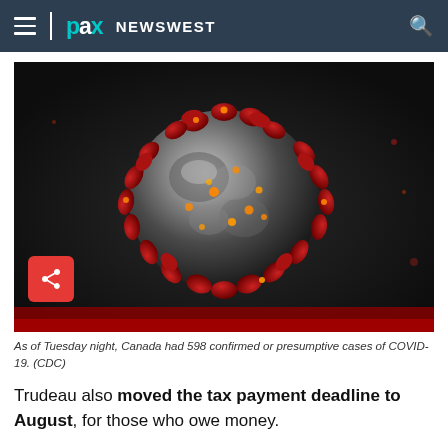pax NEWSWEST
[Figure (photo): Close-up 3D illustration of a coronavirus (COVID-19) particle showing red spike proteins, orange dots, and grey surface against a dark background.]
As of Tuesday night, Canada had 598 confirmed or presumptive cases of COVID-19. (CDC)
Trudeau also moved the tax payment deadline to August, for those who owe money.